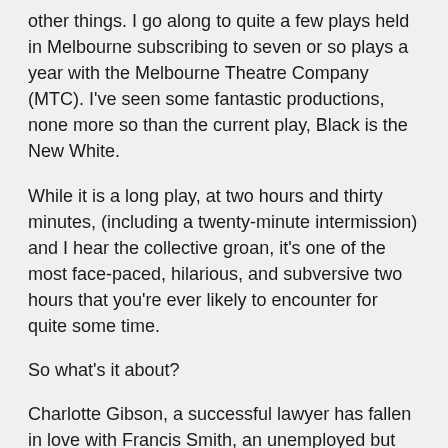other things.  I go along to quite a few plays held in Melbourne subscribing to seven or so plays a year with the Melbourne Theatre Company (MTC).  I've seen some fantastic productions, none more so than the current play, Black is the New White.
While it is a long play, at two hours and thirty minutes, (including a twenty-minute intermission) and I hear the collective groan, it's one of the most face-paced, hilarious, and subversive two hours that you're ever likely to encounter for quite some time.
So what's it about?
Charlotte Gibson, a successful lawyer has fallen in love with Francis Smith, an unemployed but highly talented experimental composer. They attend her affluent parents' holiday house for Christmas extending an invitation to Francis' parents. Charlotte's father Ray, an ex-politician has